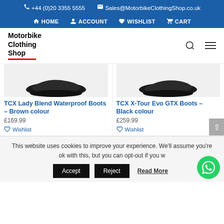+44 (0)20 3355 5555   Sales@MotorbikeClothingShop.co.uk
HOME  ACCOUNT  WISHLIST  CART
[Figure (logo): Motorbike Clothing Shop logo with red underline]
[Figure (photo): TCX Lady Blend Waterproof Boots - Brown colour product photo (boot sole visible)]
TCX Lady Blend Waterproof Boots – Brown colour
£169.99
Wishlist
[Figure (photo): TCX X-Tour Evo GTX Boots - Black colour product photo (boot sole visible)]
TCX X-Tour Evo GTX Boots – Black colour
£259.99
Wishlist
This website uses cookies to improve your experience. We'll assume you're ok with this, but you can opt-out if you w